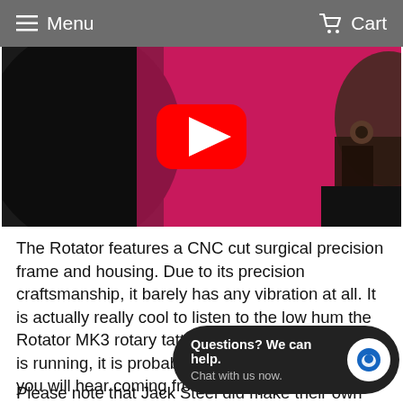Menu   Cart
[Figure (screenshot): YouTube video thumbnail showing a tattooed man against a pink/magenta background with a YouTube play button overlay]
The Rotator features a CNC cut surgical precision frame and housing. Due to its precision craftsmanship, it barely has any vibration at all. It is actually really cool to listen to the low hum the Rotator MK3 rotary tattoo machine makes when it is running, it is probably the most unique sound you will hear coming from a rotary. It is well balanced and light. Every part is replaceable and the machine comes with a LIFETIME warranty on the body
Please note that Jack Steel did make their own brand of
Questions? We can help. Chat with us now.